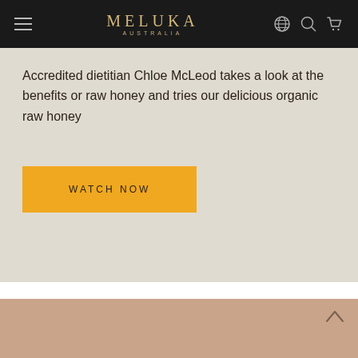MELUKA AUSTRALIA
Accredited dietitian Chloe McLeod takes a look at the benefits or raw honey and tries our delicious organic raw honey
WATCH NOW
[Figure (photo): Bottom section with a warm beige/tan background color, with a caret/up-arrow navigation element in the lower right corner]